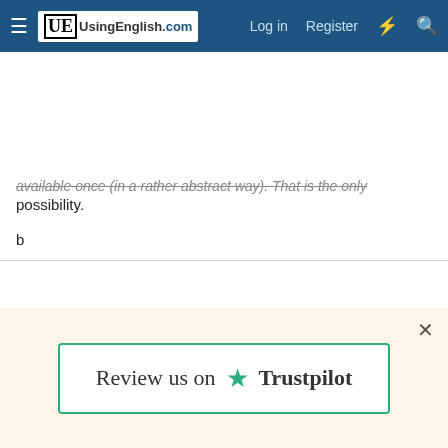UsingEnglish.com — Log in | Register
...available once (in a rather abstract way). That is the only possibility.
b
emsr2d2 — Moderator, Staff member
Joined: Jul 28, 2009
Member Type: English Teacher
Native Language: British English
Home Country: UK
Current Location: UK
Nov 26, 2012  #4
[Figure (screenshot): Trustpilot review prompt banner with green star logo and text 'Review us on Trustpilot']